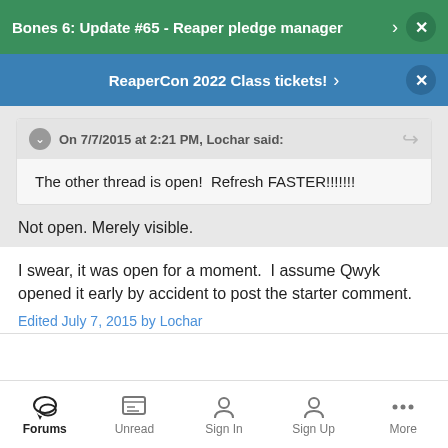Bones 6: Update #65 - Reaper pledge manager
ReaperCon 2022 Class tickets!
On 7/7/2015 at 2:21 PM, Lochar said:
The other thread is open!  Refresh FASTER!!!!!!!
Not open. Merely visible.
I swear, it was open for a moment.  I assume Qwyk opened it early by accident to post the starter comment.
Edited July 7, 2015 by Lochar
Forums  Unread  Sign In  Sign Up  More